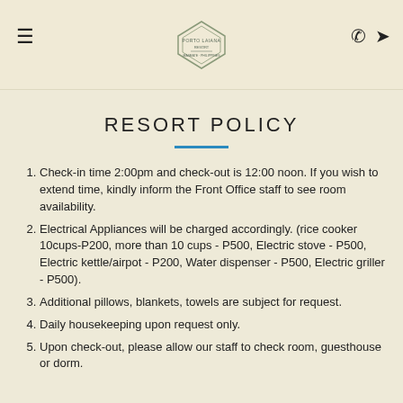Resort header with logo, hamburger menu, phone and navigation icons
RESORT POLICY
Check-in time 2:00pm and check-out is 12:00 noon. If you wish to extend time, kindly inform the Front Office staff to see room availability.
Electrical Appliances will be charged accordingly. (rice cooker 10cups-P200, more than 10 cups - P500, Electric stove - P500, Electric kettle/airpot - P200, Water dispenser - P500, Electric griller - P500).
Additional pillows, blankets, towels are subject for request.
Daily housekeeping upon request only.
Upon check-out, please allow our staff to check room, guesthouse or dorm.